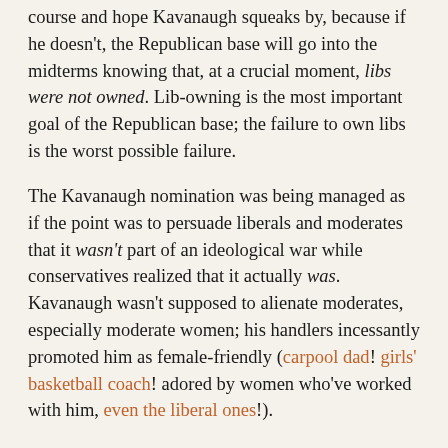course and hope Kavanaugh squeaks by, because if he doesn't, the Republican base will go into the midterms knowing that, at a crucial moment, libs were not owned. Lib-owning is the most important goal of the Republican base; the failure to own libs is the worst possible failure.
The Kavanaugh nomination was being managed as if the point was to persuade liberals and moderates that it wasn't part of an ideological war while conservatives realized that it actually was. Kavanaugh wasn't supposed to alienate moderates, especially moderate women; his handlers incessantly promoted him as female-friendly (carpool dad! girls' basketball coach! adored by women who've worked with him, even the liberal ones!).
But now that everyone knows we're in an ideological war, McConnell, on behalf of his troops, has to win -- the base won't accept failure. McConnell has to push Kavanaugh through because there's as much Democratic opposition as there is -- giving in would make him a cuck.
I think McConnell could achieve a significant amount of lib-owning if Kavanaugh were to withdraw and Amy Coney Barrett were to be nominated, because his base sees it as...